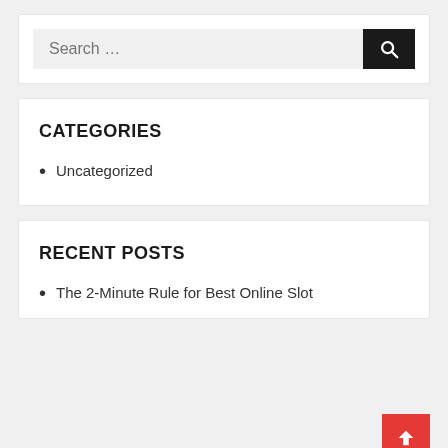Search …
CATEGORIES
Uncategorized
RECENT POSTS
The 2-Minute Rule for Best Online Slot